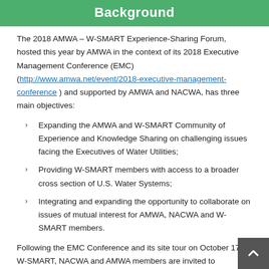Background
The 2018 AMWA – W-SMART Experience-Sharing Forum, hosted this year by AMWA in the context of its 2018 Executive Management Conference (EMC) (http://www.amwa.net/event/2018-executive-management-conference ) and supported by AMWA and NACWA, has three main objectives:
Expanding the AMWA and W-SMART Community of Experience and Knowledge Sharing on challenging issues facing the Executives of Water Utilities;
Providing W-SMART members with access to a broader cross section of U.S. Water Systems;
Integrating and expanding the opportunity to collaborate on issues of mutual interest for AMWA, NACWA and W-SMART members.
Following the EMC Conference and its site tour on October 17, W-SMART, NACWA and AMWA members are invited to participate in an experience-sharing and best practice assessment Workshop